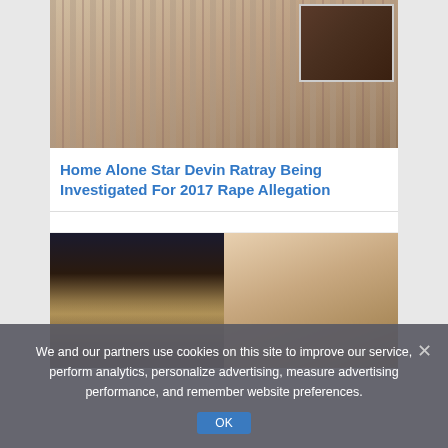[Figure (photo): Top photo of a person wearing a striped shirt, with an inset photo of another person in a dark jacket in the upper right corner]
Home Alone Star Devin Ratray Being Investigated For 2017 Rape Allegation
[Figure (photo): Two side-by-side photos of blonde women]
We and our partners use cookies on this site to improve our service, perform analytics, personalize advertising, measure advertising performance, and remember website preferences.
OK